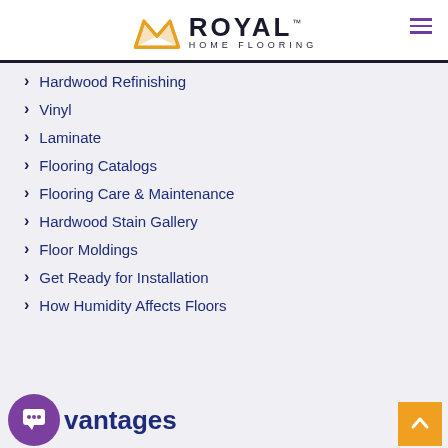Royal Home Flooring logo and navigation header
Hardwood Refinishing
Vinyl
Laminate
Flooring Catalogs
Flooring Care & Maintenance
Hardwood Stain Gallery
Floor Moldings
Get Ready for Installation
How Humidity Affects Floors
vantages